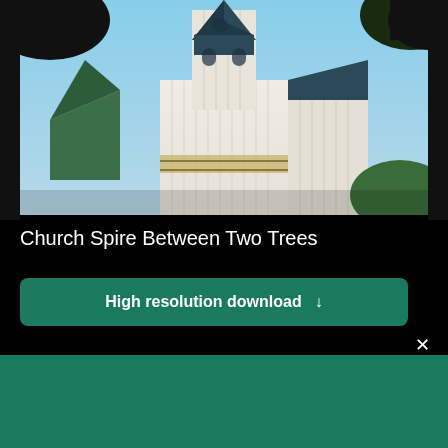[Figure (photo): Photograph of a white church with a dark blue/green spire steeple seen from below, framed by tree branches against a blue sky]
Church Spire Between Two Trees
High resolution download ↓
[Figure (logo): Shopify logo - white shopping bag icon with 'shopify' italic text in white]
Need an online store for your business?
Start free trial